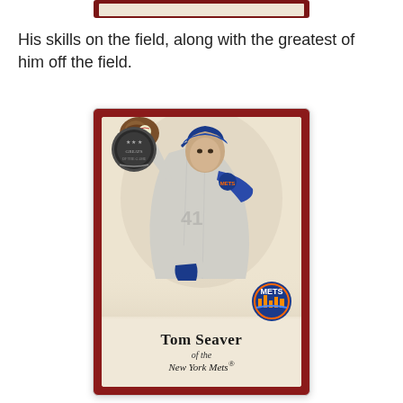[Figure (photo): Top portion of a baseball trading card with dark red border, partially cut off at the top of the page.]
His skills on the field, along with the greatest of him off the field.
[Figure (photo): A Tom Seaver New York Mets baseball trading card showing a painted illustration of Tom Seaver in his pitching stance wearing a Mets uniform with blue cap and glove. The card has a dark red border, a decorative medallion in the top left, a Mets circular team logo on the lower right, and text at the bottom reading 'Tom Seaver of the New York Mets'.]